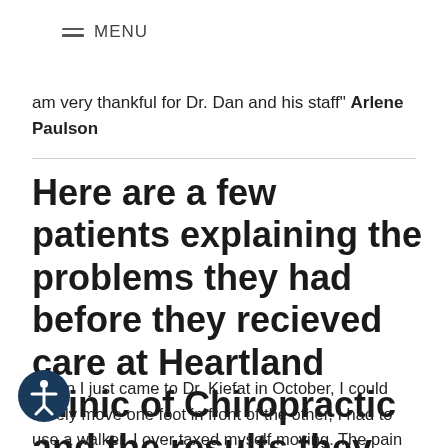MENU
am very thankful for Dr. Dan and his staff" Arlene Paulson
Here are a few patients explaining the problems they had before they recieved care at Heartland Clinic of Chiropractic and the results they experienced with our care!
When I just came to Dr. Kiefat in October, I could barely move one foot in front of the other, I had to use a walker. I over taxed myself moving. The pain was so severe